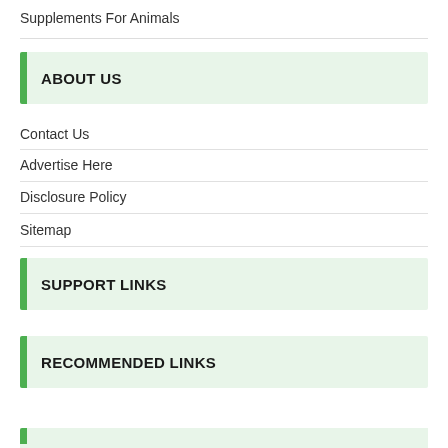Supplements For Animals
ABOUT US
Contact Us
Advertise Here
Disclosure Policy
Sitemap
SUPPORT LINKS
RECOMMENDED LINKS